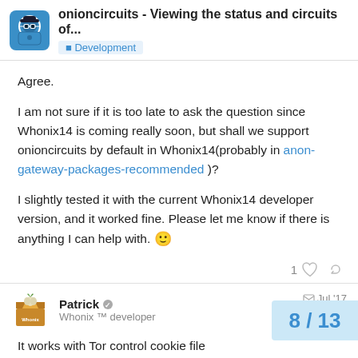onioncircuits - Viewing the status and circuits of... | Development
Agree.
I am not sure if it is too late to ask the question since Whonix14 is coming really soon, but shall we support onioncircuits by default in Whonix14(probably in anon-gateway-packages-recommended )?
I slightly tested it with the current Whonix14 developer version, and it worked fine. Please let me know if there is anything I can help with. 🙂
Patrick
Whonix ™ developer
Jul '17
It works with Tor control cookie file authent
8 / 13